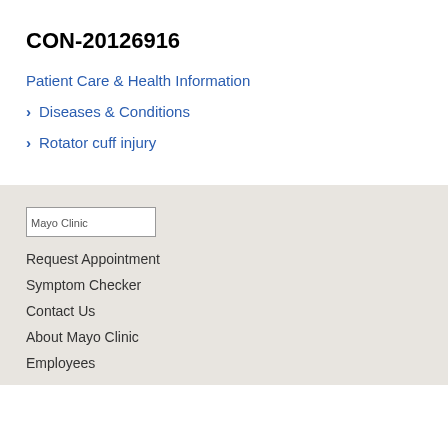CON-20126916
Patient Care & Health Information
Diseases & Conditions
Rotator cuff injury
[Figure (logo): Mayo Clinic logo]
Request Appointment
Symptom Checker
Contact Us
About Mayo Clinic
Employees